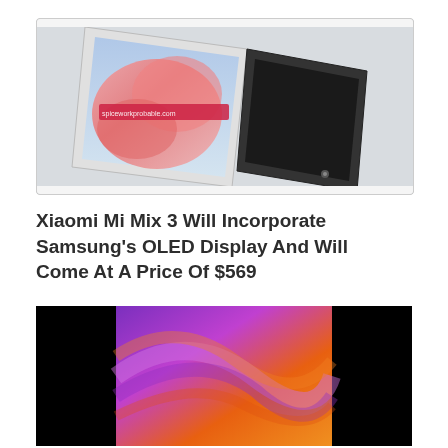[Figure (photo): Two smartphones side by side — one showing a pink floral wallpaper display with a watermark overlay, the other dark/black, photographed at an angle on a white background]
Xiaomi Mi Mix 3 Will Incorporate Samsung's OLED Display And Will Come At A Price Of $569
[Figure (photo): A bezel-less smartphone (Xiaomi Mi Mix) showing a vivid purple, magenta and orange swirling wallpaper on its large display, with black side bezels, photographed straight-on]